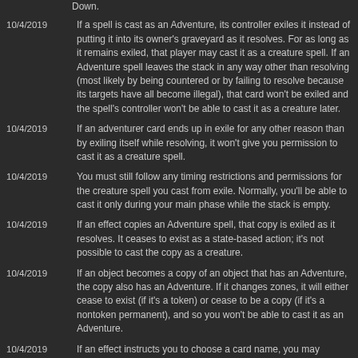Down.
If a spell is cast as an Adventure, its controller exiles it instead of putting it into its owner's graveyard as it resolves. For as long as it remains exiled, that player may cast it as a creature spell. If an Adventure spell leaves the stack in any way other than resolving (most likely by being countered or by failing to resolve because its targets have all become illegal), that card won't be exiled and the spell's controller won't be able to cast it as a creature later.
If an adventurer card ends up in exile for any other reason than by exiling itself while resolving, it won't give you permission to cast it as a creature spell.
You must still follow any timing restrictions and permissions for the creature spell you cast from exile. Normally, you'll be able to cast it only during your main phase while the stack is empty.
If an effect copies an Adventure spell, that copy is exiled as it resolves. It ceases to exist as a state-based action; it's not possible to cast the copy as a creature.
If an object becomes a copy of an object that has an Adventure, the copy also has an Adventure. If it changes zones, it will either cease to exist (if it's a token) or cease to be a copy (if it's a nontoken permanent), and so you won't be able to cast it as an Adventure.
If an effect instructs you to choose a card name, you may choose the alternative Adventure name. Consider only the alternative characteristics to determine whether that is an appropriate name to choose.